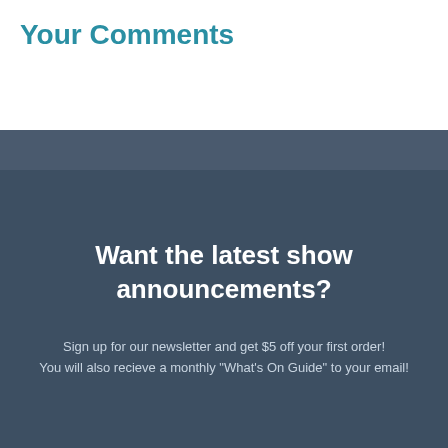Your Comments
Want the latest show announcements?
Sign up for our newsletter and get $5 off your first order!
You will also recieve a monthly "What's On Guide" to your email!